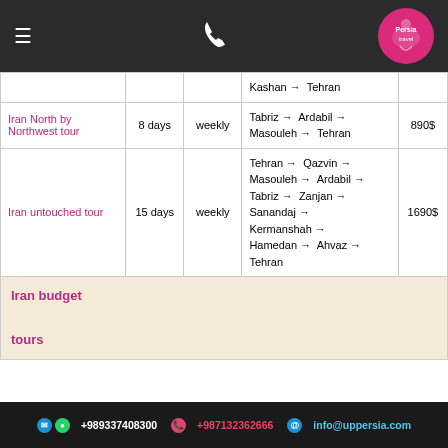Navigation bar with hamburger menu, phone icon, and Persia Travel logo
| Tour Name | Days | Frequency | Route | Price |
| --- | --- | --- | --- | --- |
|  |  |  | Kashan → Tehran |  |
| Iran North by Northwest tour | 8 days | weekly | Tabriz → Ardabil → Masouleh → Tehran | 890$ |
| Iran untouched tour | 15 days | weekly | Tehran → Qazvin → Masouleh → Ardabil → Tabriz → Zanjan → Sanandaj → Kermanshah → Hamedan → Ahvaz → Tehran | 1690$ |
| Iran budget tours |  |  |  |  |
+989337408300  +987132362666  info@uppersia.com